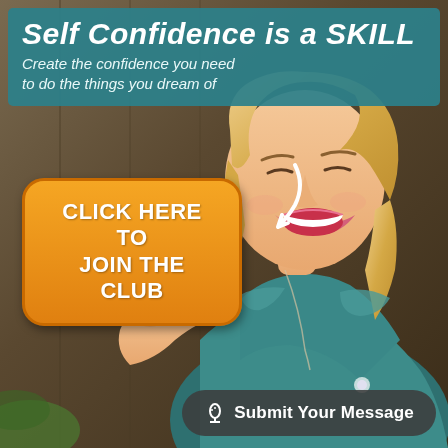[Figure (photo): Promotional advertisement image with a smiling blonde woman in a teal off-shoulder top, raising her hand enthusiastically. Background is dark wood.]
Self Confidence is a SKILL
Create the confidence you need to do the things you dream of
CLICK HERE TO JOIN THE CLUB
Submit Your Message